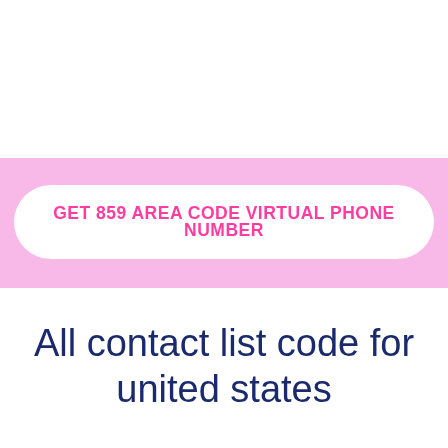[Figure (infographic): Pink banner background with a white rounded-rectangle button containing bold pink uppercase text: GET 859 AREA CODE VIRTUAL PHONE NUMBER]
All contact list code for united states